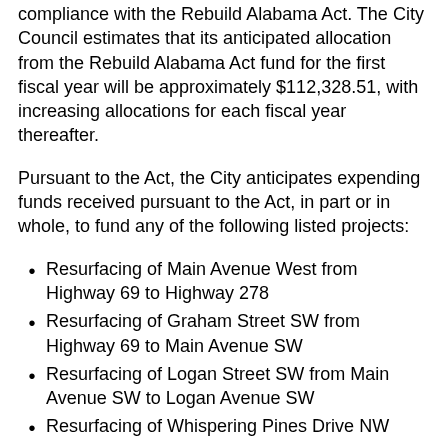compliance with the Rebuild Alabama Act. The City Council estimates that its anticipated allocation from the Rebuild Alabama Act fund for the first fiscal year will be approximately $112,328.51, with increasing allocations for each fiscal year thereafter.
Pursuant to the Act, the City anticipates expending funds received pursuant to the Act, in part or in whole, to fund any of the following listed projects:
Resurfacing of Main Avenue West from Highway 69 to Highway 278
Resurfacing of Graham Street SW from Highway 69 to Main Avenue SW
Resurfacing of Logan Street SW from Main Avenue SW to Logan Avenue SW
Resurfacing of Whispering Pines Drive NW
Resurfacing of Rocky Waters Circle NW
Resurfacing of Waterford Drive NW